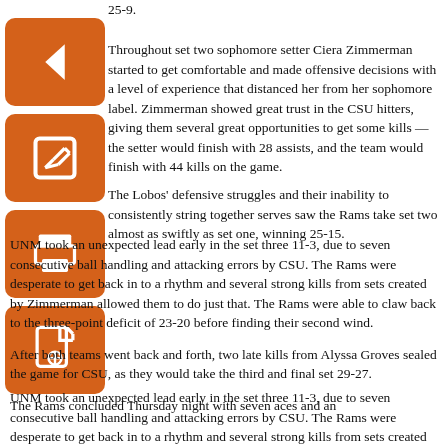25-9.
Throughout set two sophomore setter Ciera Zimmerman started to get comfortable and made offensive decisions with a level of experience that distanced her from her sophomore label. Zimmerman showed great trust in the CSU hitters, giving them several great opportunities to get some kills — the setter would finish with 28 assists, and the team would finish with 44 kills on the game.
The Lobos' defensive struggles and their inability to consistently string together serves saw the Rams take set two almost as swiftly as set one, winning 25-15.
UNM took an unexpected lead early in the set three 11-3, due to seven consecutive ball handling and attacking errors by CSU. The Rams were desperate to get back in to a rhythm and several strong kills from sets created by Zimmerman allowed them to do just that. The Rams were able to claw back to the three-point deficit of 23-20 before finding their second wind.
After both teams went back and forth, two late kills from Alyssa Groves sealed the game for CSU, as they would take the third and final set 29-27.
The Rams concluded Thursday night with seven aces and an